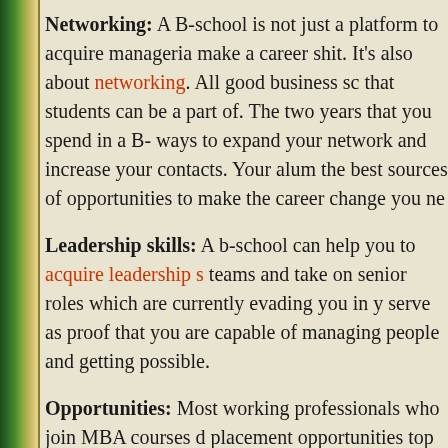Networking: A B-school is not just a platform to acquire manageria make a career shit. It's also about networking. All good business sc that students can be a part of. The two years that you spend in a B- ways to expand your network and increase your contacts. Your alum the best sources of opportunities to make the career change you ne
Leadership skills: A b-school can help you to acquire leadership s teams and take on senior roles which are currently evading you in y serve as proof that you are capable of managing people and getting possible.
Opportunities: Most working professionals who join MBA courses d placement opportunities top of the line business schools can provid experience often get a huge boost to their careers upon completing sense for professionals to invest time in developing their manageria
It is important to keep in mind that MBA degrees are becoming mor necessary to go for a full time MBA. An MBA degree can acquired th Other options are include part time and executive one year MBA pro